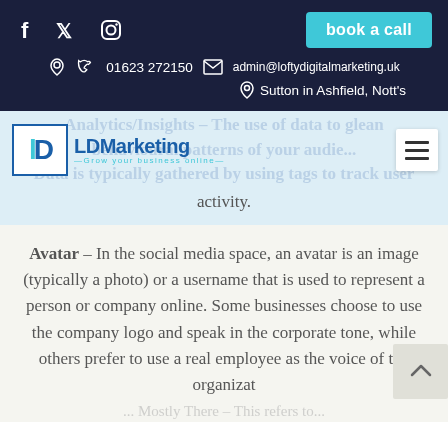f [twitter] [instagram]  book a call  |  01623 272150  admin@loftydigitalmarketing.uk  Sutton in Ashfield, Nott's
[Figure (logo): LD Marketing logo with text 'Grow your business online']
Analytics/Insights – The use of data to glean behavioural patterns of your audience. Data is typically gathered by using tags to track user activity.
Avatar – In the social media space, an avatar is an image (typically a photo) or a username that is used to represent a person or company online. Some businesses choose to use the company logo and speak in the corporate tone, while others prefer to use a real employee as the voice of the organization.
Mostly There – This refers to...